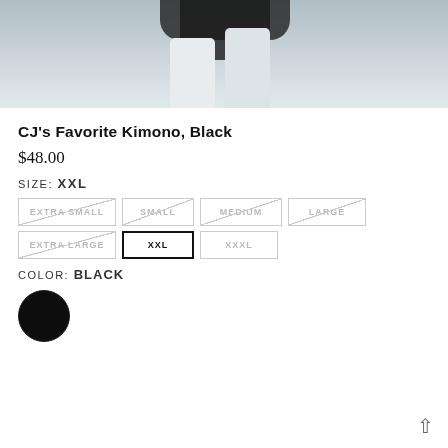[Figure (photo): Product photo of a black kimono on a mannequin against a light gray background, cropped showing lower portion of garment]
CJ's Favorite Kimono, Black
$48.00
SIZE: XXL
Size options: EXTRA SMALL (unavailable), SMALL (unavailable), MEDIUM (unavailable), LARGE (unavailable), EXTRA LARGE (unavailable), XXL (selected), XXXL (unavailable)
COLOR: BLACK
[Figure (illustration): Black circular color swatch]